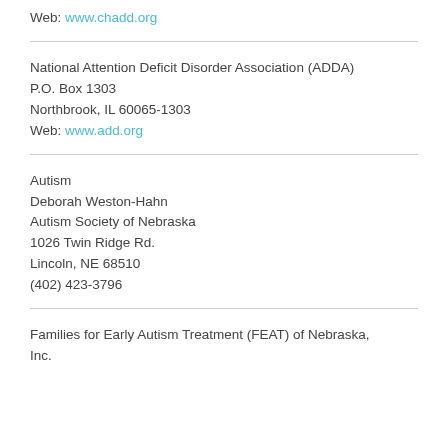Web: www.chadd.org
National Attention Deficit Disorder Association (ADDA)
P.O. Box 1303
Northbrook, IL 60065-1303
Web: www.add.org
Autism
Deborah Weston-Hahn
Autism Society of Nebraska
1026 Twin Ridge Rd.
Lincoln, NE 68510
(402) 423-3796
Families for Early Autism Treatment (FEAT) of Nebraska, Inc.